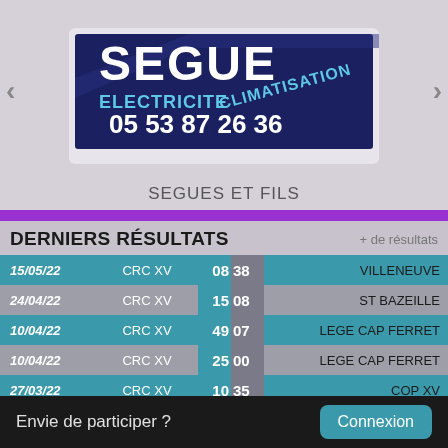[Figure (photo): Sign for SEGUES ET FILS showing ELECTRICITE CLIMATISATION and phone number 05 53 87 26 36 on a dark blue background]
SEGUES ET FILS
DERNIERS RÉSULTATS
| Date | Home | Score H | Score A | Away |
| --- | --- | --- | --- | --- |
| 15/05/22 | CRC XV | 08 | 38 | VILLENEUVE |
| 24/04/22 | CRC XV | 15 | 08 | ST BAZEILLE |
| 10/04/22 | CRC XV | 49 | 07 | LEGE CAP FERRET |
| 10/04/22 | CRC XV | 25 | 00 | LEGE CAP FERRET |
| 27/03/22 | CRC XV | 10 | 35 | COP XV |
| 27/03/22 | CRC XV | 38 | 48 | COP XV |
| 13/03/22 | CRC XV | 32 | 17 | LA REOLE |
Envie de participer ?
Connexion